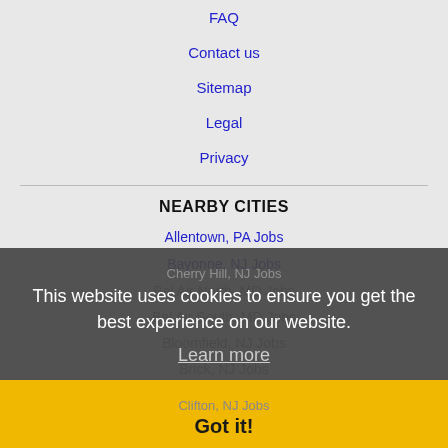FAQ
Contact us
Sitemap
Legal
Privacy
NEARBY CITIES
Allentown, PA Jobs
Bayonne, NJ Jobs
Bel Air North, MD Jobs
Bel Air South, MD Jobs
Bloomfield, NJ Jobs
Brick, NJ Jobs
Camden, NJ Jobs
Cherry Hill, NJ Jobs
Clifton, NJ Jobs
East Brunswick, NJ Jobs
East Orange, NJ Jobs
This website uses cookies to ensure you get the best experience on our website. Learn more Got it!